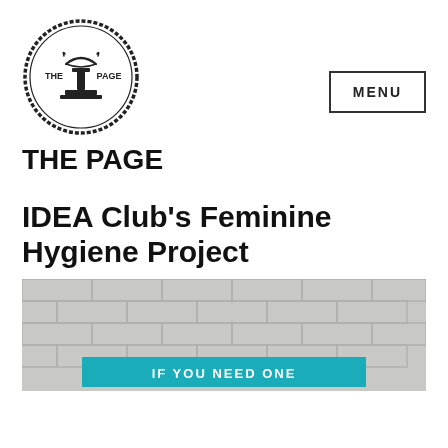[Figure (logo): The Page circular logo with a fountain/pedestal icon in the center, text 'THE PAGE' flanking the icon, surrounded by a decorative circular border]
THE PAGE
IDEA Club's Feminine Hygiene Project
[Figure (photo): Photo of a white brick wall with a teal/turquoise banner at the bottom showing partial text 'IF YOU NEED ONE']